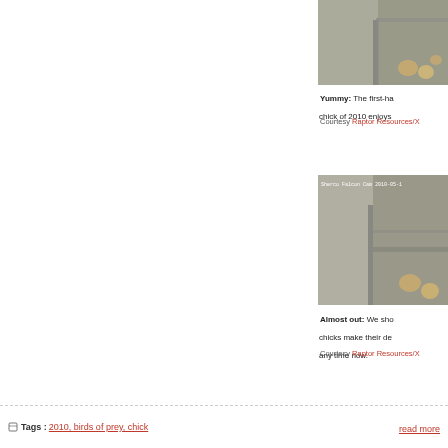[Figure (photo): Camera image of falcon chicks on gravel ledge - Sherco Falcon Cam]
Yummy: The first-hatched chick of 2010 enjoys...
Courtesy Raptor Resources/X...
[Figure (photo): Camera image showing falcons almost out of eggs - Sherco Falcon Cam 2010-05-1...]
Almost out: We sho... chicks make their de... any time now.
Courtesy Raptor Resources/X...
Tags: 2010, birds of prey, chick...
read more